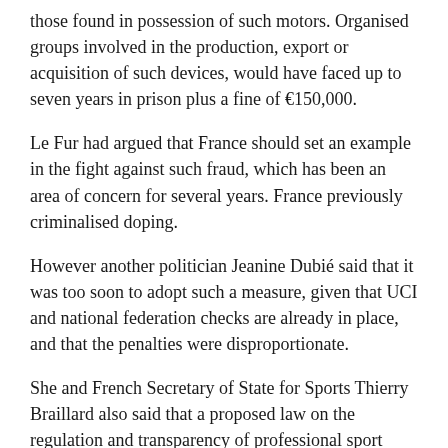those found in possession of such motors. Organised groups involved in the production, export or acquisition of such devices, would have faced up to seven years in prison plus a fine of €150,000.
Le Fur had argued that France should set an example in the fight against such fraud, which has been an area of concern for several years. France previously criminalised doping.
However another politician Jeanine Dubié said that it was too soon to adopt such a measure, given that UCI and national federation checks are already in place, and that the penalties were disproportionate.
She and French Secretary of State for Sports Thierry Braillard also said that a proposed law on the regulation and transparency of professional sport would put the federations in charge of carrying out checks and, if needed, to hand down sanctions.